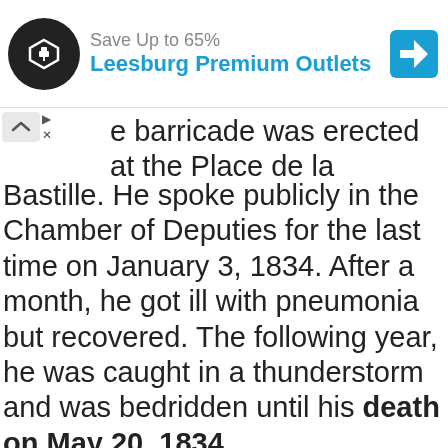[Figure (screenshot): Advertisement banner for Leesburg Premium Outlets with a circular black logo on the left, cyan/blue brand text reading 'Leesburg Premium Outlets', and a navigation/directions icon on the right.]
e barricade was erected at the Place de la Bastille. He spoke publicly in the Chamber of Deputies for the last time on January 3, 1834. After a month, he got ill with pneumonia but recovered. The following year, he was caught in a thunderstorm and was bedridden until his death on May 20, 1834.
ADVERTISEMENT